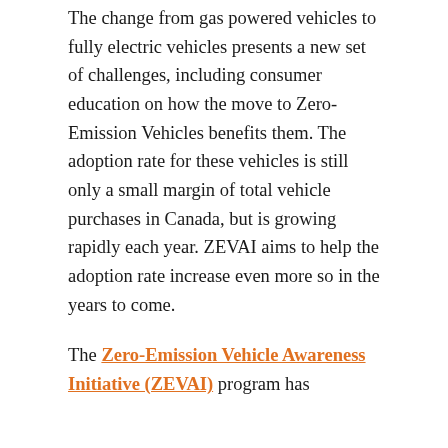The change from gas powered vehicles to fully electric vehicles presents a new set of challenges, including consumer education on how the move to Zero-Emission Vehicles benefits them. The adoption rate for these vehicles is still only a small margin of total vehicle purchases in Canada, but is growing rapidly each year. ZEVAI aims to help the adoption rate increase even more so in the years to come.
The Zero-Emission Vehicle Awareness Initiative (ZEVAI) program has announced its most recent application intake period will close on August 16, 2021. Consider contacting Mentor Works' team of government grant application writers for a 95% time savings when compared to applying for grants in-house.